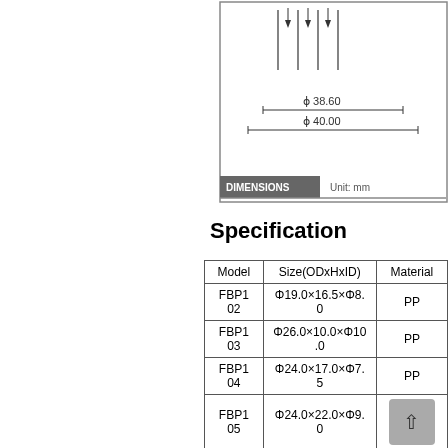[Figure (engineering-diagram): Technical drawing showing cross-section of a circular part with dimension lines indicating phi 38.60 and phi 40.00 in mm]
Specification
| Model | Size(ODxHxID) | Material |
| --- | --- | --- |
| FBP102 | Φ19.0×16.5×Φ8.0 | PP |
| FBP103 | Φ26.0×10.0×Φ10.0 | PP |
| FBP104 | Φ24.0×17.0×Φ7.5 | PP |
| FBP105 | Φ24.0×22.0×Φ9.0 |  |
| FBP107 | Φ24.0×22.0×Φ9.0 | PP |